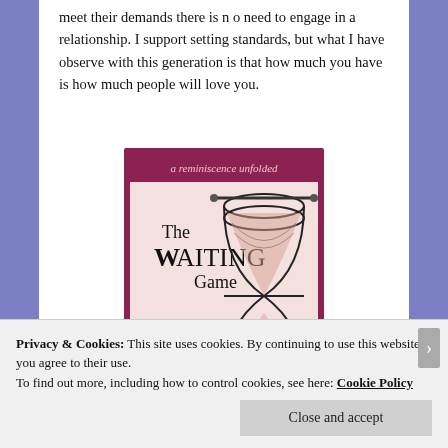meet their demands there is n o need to engage in a relationship. I support setting standards, but what I have observe with this generation is that how much you have is how much people will love you.
[Figure (illustration): Book cover of 'The Waiting Game: a reminiscence unfolded' featuring an hourglass illustration on a pink background with dark red/maroon border.]
Privacy & Cookies: This site uses cookies. By continuing to use this website, you agree to their use.
To find out more, including how to control cookies, see here: Cookie Policy